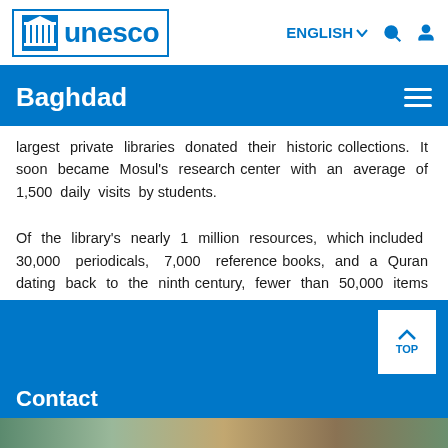UNESCO | Baghdad | ENGLISH
Baghdad
largest private libraries donated their historic collections. It soon became Mosul's research center with an average of 1,500 daily visits by students.
Of the library's nearly 1 million resources, which included 30,000 periodicals, 7,000 reference books, and a Quran dating back to the ninth century, fewer than 50,000 items have survived the war.
Contact
[Figure (photo): Partial photo visible at bottom of page]